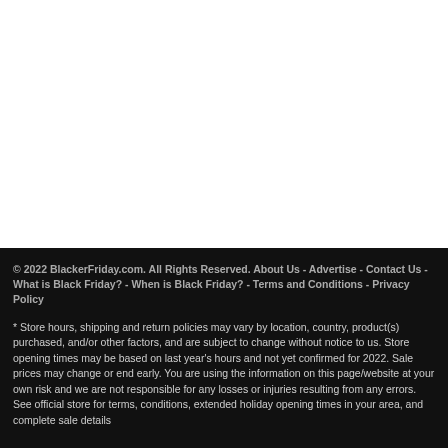© 2022 BlackerFriday.com. All Rights Reserved. About Us - Advertise - Contact Us - What is Black Friday? - When is Black Friday? - Terms and Conditions - Privacy Policy
* Store hours, shipping and return policies may vary by location, country, product(s) purchased, and/or other factors, and are subject to change without notice to us. Store opening times may be based on last year's hours and not yet confirmed for 2022. Sale prices may change or end early. You are using the information on this page/website at your own risk and we are not responsible for any losses or injuries resulting from any errors. See official store for terms, conditions, extended holiday opening times in your area, and complete sale details